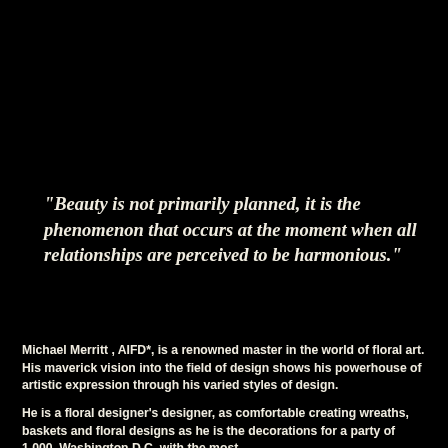"Beauty is not primarily planned, it is the phenomenon that occurs at the moment when all relationships are perceived to be harmonious."
Michael Merritt , AIFD*, is a renowned master in the world of floral art. His maverick vision into the field of design shows his powerhouse of artistic expression through his varied styles of design.
He is a floral designer's designer, as comfortable creating wreaths, baskets and floral designs as he is the decorations for a party of 1,000. Washington D.C. with the most...